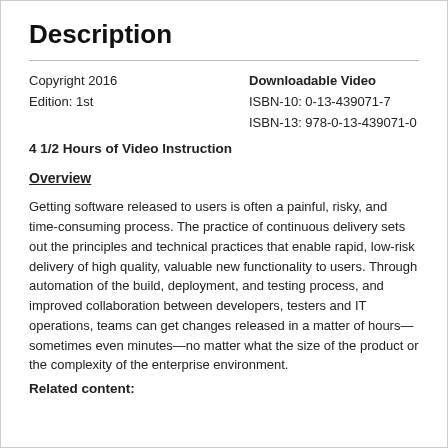Description
Copyright 2016
Edition: 1st
Downloadable Video
ISBN-10: 0-13-439071-7
ISBN-13: 978-0-13-439071-0
4 1/2 Hours of Video Instruction
Overview
Getting software released to users is often a painful, risky, and time-consuming process. The practice of continuous delivery sets out the principles and technical practices that enable rapid, low-risk delivery of high quality, valuable new functionality to users. Through automation of the build, deployment, and testing process, and improved collaboration between developers, testers and IT operations, teams can get changes released in a matter of hours—sometimes even minutes—no matter what the size of the product or the complexity of the enterprise environment.
Related content: